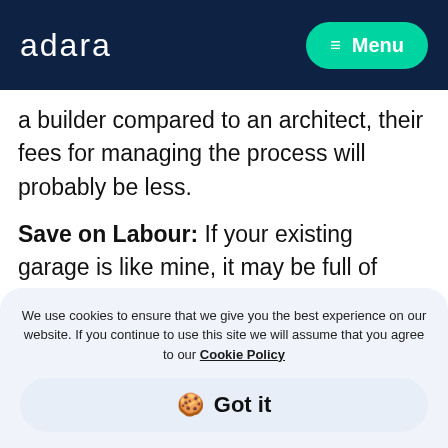adara   Menu
a builder compared to an architect, their fees for managing the process will probably be less.
Save on Labour: If your existing garage is like mine, it may be full of furniture, old bikes, and an old washing machine, perhaps. If you let the
We use cookies to ensure that we give you the best experience on our website. If you continue to use this site we will assume that you agree to our Cookie Policy
🍪 Got it